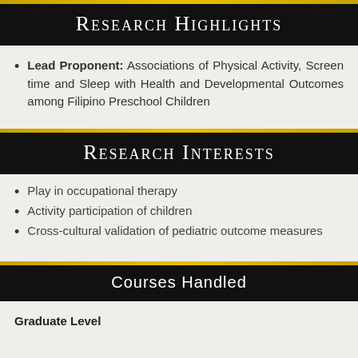Research Highlights
Lead Proponent: Associations of Physical Activity, Screen time and Sleep with Health and Developmental Outcomes among Filipino Preschool Children
Research Interests
Play in occupational therapy
Activity participation of children
Cross-cultural validation of pediatric outcome measures
Courses Handled
Graduate Level